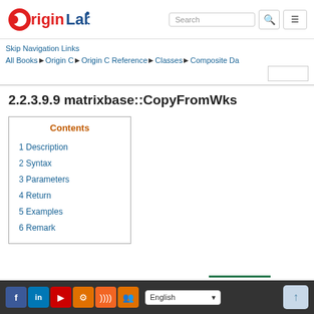OriginLab [logo] Search [search button] [menu button]
Skip Navigation Links
All Books ▶ Origin C ▶ Origin C Reference ▶ Classes ▶ Composite Da...
2.2.3.9.9 matrixbase::CopyFromWks
Contents
1 Description
2 Syntax
3 Parameters
4 Return
5 Examples
6 Remark
Facebook LinkedIn YouTube Settings RSS Groups | English ▼ | ↑